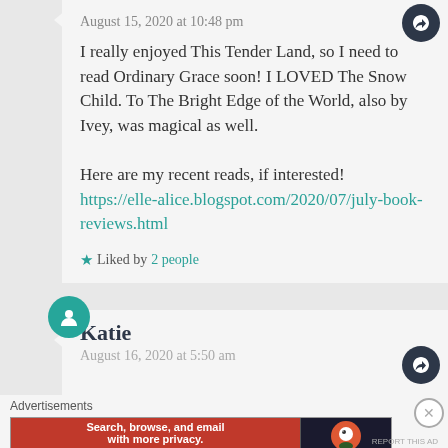August 15, 2020 at 10:48 pm
I really enjoyed This Tender Land, so I need to read Ordinary Grace soon! I LOVED The Snow Child. To The Bright Edge of the World, also by Ivey, was magical as well.

Here are my recent reads, if interested!
https://elle-alice.blogspot.com/2020/07/july-book-reviews.html
★ Liked by 2 people
Katie
August 16, 2020 at 5:50 am
Advertisements
[Figure (screenshot): DuckDuckGo advertisement banner: red background with text 'Search, browse, and email with more privacy. All in One Free App' and DuckDuckGo logo on dark background]